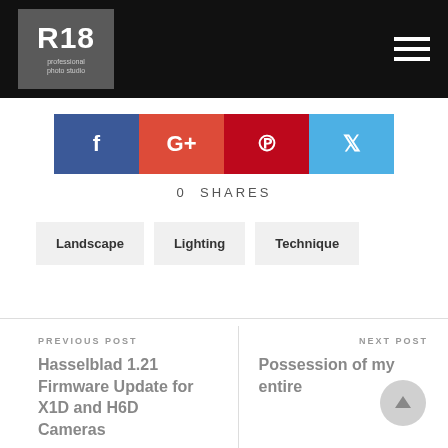[Figure (logo): R18 professional photo studio logo on dark header bar with hamburger menu icon]
[Figure (infographic): Social share buttons: Facebook (blue), Google+ (orange-red), Pinterest (dark red), Twitter (light blue)]
0  SHARES
Landscape
Lighting
Technique
PREVIOUS POST
Hasselblad 1.21 Firmware Update for X1D and H6D Cameras
NEXT POST
Possession of my entire